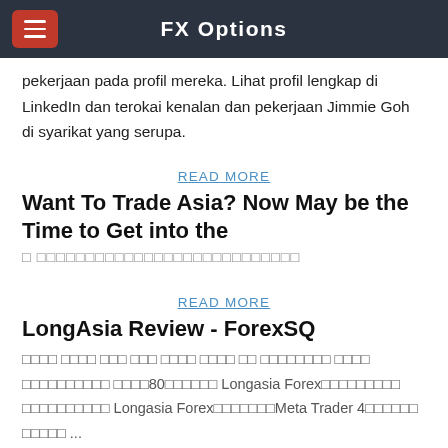FX Options
pekerjaan pada profil mereka. Lihat profil lengkap di LinkedIn dan terokai kenalan dan pekerjaan Jimmie Goh di syarikat yang serupa.
READ MORE
Want To Trade Asia? Now May be the Time to Get into the
□ □□□□□□□□□□□□□□□□□□□□□□□□□□
READ MORE
LongAsia Review - ForexSQ
□□□□ □□□□ □□□ □□□ □□□□ □□□□ □□ □□□□□□□□ □□□□ □□□□□□□□□□ □□□□80□□□□□□ Longasia Forex□□□□□□□□□ □□□□□□□□□□ Longasia Forex□□□□□□□Meta Trader 4□□□□□□ □□□□□ ...